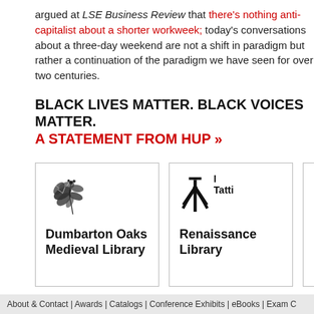argued at LSE Business Review that there's nothing anti-capitalist about a shorter workweek; today's conversations about a three-day weekend are not a shift in paradigm but rather a continuation of the paradigm we have seen for over two centuries.
BLACK LIVES MATTER. BLACK VOICES MATTER. A STATEMENT FROM HUP »
[Figure (logo): Dumbarton Oaks Medieval Library logo: a decorative botanical illustration of a plant with leaves]
Dumbarton Oaks Medieval Library
[Figure (logo): I Tatti Renaissance Library logo: a stylized kanji-like character with text 'I Tatti']
Renaissance Library
About & Contact | Awards | Catalogs | Conference Exhibits | eBooks | Exam C